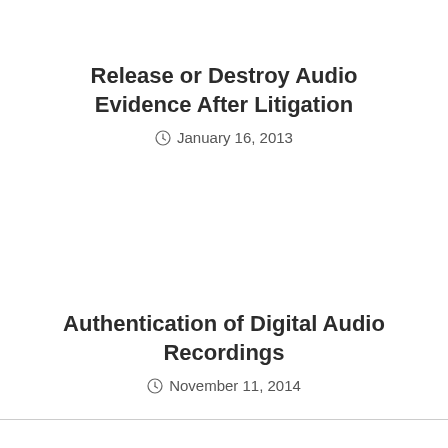Release or Destroy Audio Evidence After Litigation
January 16, 2013
Authentication of Digital Audio Recordings
November 11, 2014